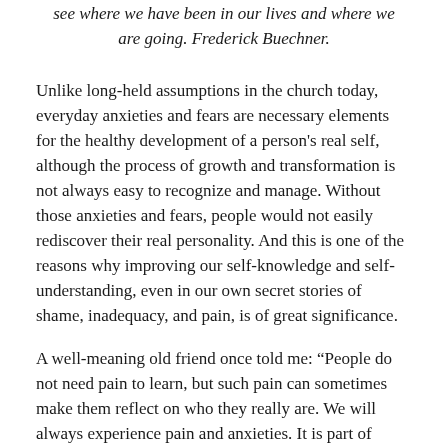see where we have been in our lives and where we are going. Frederick Buechner.
Unlike long-held assumptions in the church today, everyday anxieties and fears are necessary elements for the healthy development of a person's real self, although the process of growth and transformation is not always easy to recognize and manage. Without those anxieties and fears, people would not easily rediscover their real personality. And this is one of the reasons why improving our self-knowledge and self-understanding, even in our own secret stories of shame, inadequacy, and pain, is of great significance.
A well-meaning old friend once told me: “People do not need pain to learn, but such pain can sometimes make them reflect on who they really are. We will always experience pain and anxieties. It is part of being human in the present world. Even Christ faced this reality.” How these words have impacted me deeply! I spent part of my elementary school years in a private Christian school, but my parents later enrolled me in a public school. In the process, my family moved around a couple of times. Despite the stress of a house move, my anxieties during